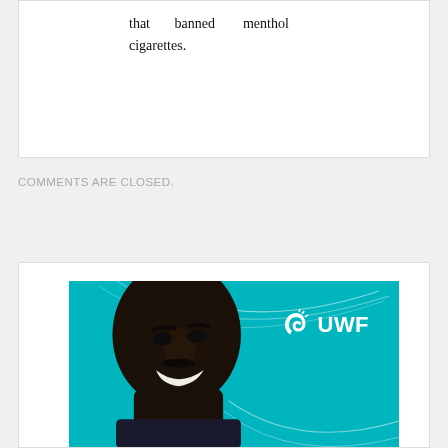that banned menthol cigarettes.
COMMENTS ARE CLOSED.
[Figure (photo): Advertisement showing a smiling young Black man against a teal background with white curved line decorations and the UWF logo (spiral shell icon with text 'UWF') in the upper right.]